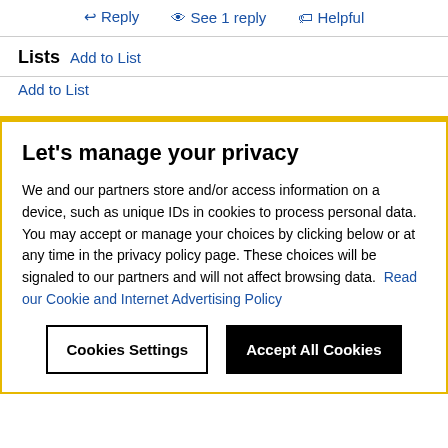↩ Reply  👁 See 1 reply  🏷 Helpful
Lists  Add to List
Add to List
Let's manage your privacy
We and our partners store and/or access information on a device, such as unique IDs in cookies to process personal data. You may accept or manage your choices by clicking below or at any time in the privacy policy page. These choices will be signaled to our partners and will not affect browsing data.  Read our Cookie and Internet Advertising Policy
Cookies Settings | Accept All Cookies